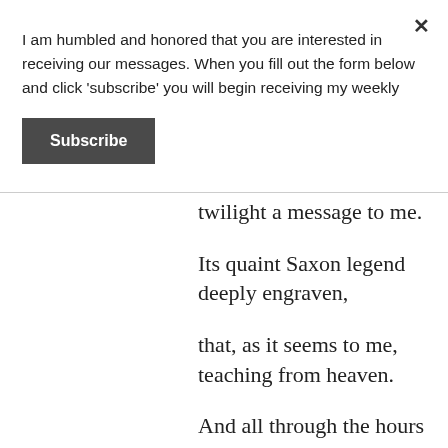I am humbled and honored that you are interested in receiving our messages. When you fill out the form below and click 'subscribe' you will begin receiving my weekly
Subscribe
twilight a message to me.
Its quaint Saxon legend deeply engraven,
that, as it seems to me, teaching from heaven.
And all through the hours the quiet words ring,